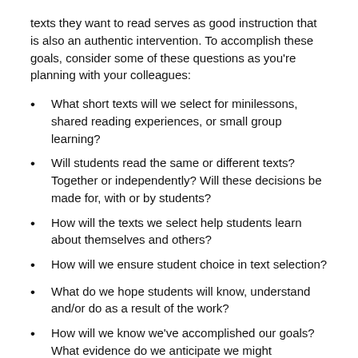texts they want to read serves as good instruction that is also an authentic intervention.  To accomplish these goals, consider some of these questions as you're planning with your colleagues:
What short texts will we select for minilessons, shared reading experiences, or small group learning?
Will students read the same or different texts? Together or independently? Will these decisions be made for, with or by students?
How will the texts we select help students learn about themselves and others?
How will we ensure student choice in text selection?
What do we hope students will know, understand and/or do as a result of the work?
How will we know we've accomplished our goals?  What evidence do we anticipate we might see/hear?